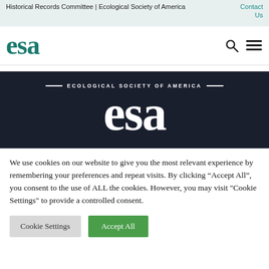Historical Records Committee | Ecological Society of America
Contact Us
[Figure (logo): ESA (Ecological Society of America) logo in teal/green serif font]
[Figure (logo): ESA Ecological Society of America white logo on dark navy background with 'ECOLOGICAL SOCIETY OF AMERICA' text above]
We use cookies on our website to give you the most relevant experience by remembering your preferences and repeat visits. By clicking “Accept All”, you consent to the use of ALL the cookies. However, you may visit "Cookie Settings" to provide a controlled consent.
Cookie Settings
Accept All